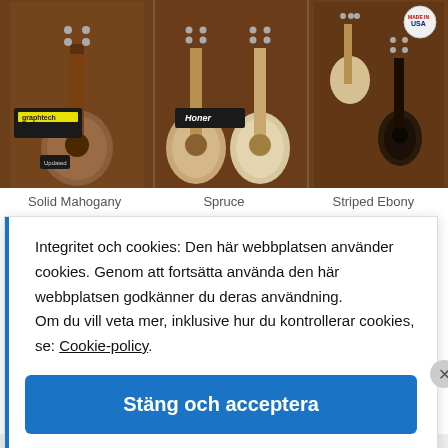[Figure (photo): Photo of ukulele/bass instruments displayed on a wooden wall at what appears to be a trade show or exhibition. Three sections show instruments including Solid Mahogany, Spruce, and Striped Ebony models with brand signage including Graphtech and Honer visible.]
Solid Mahogany    Spruce    Striped Ebony
Integritet och cookies: Den här webbplatsen använder cookies. Genom att fortsätta använda den här webbplatsen godkänner du deras användning.
Om du vill veta mer, inklusive hur du kontrollerar cookies, se: Cookie-policy.
Stäng och acceptera